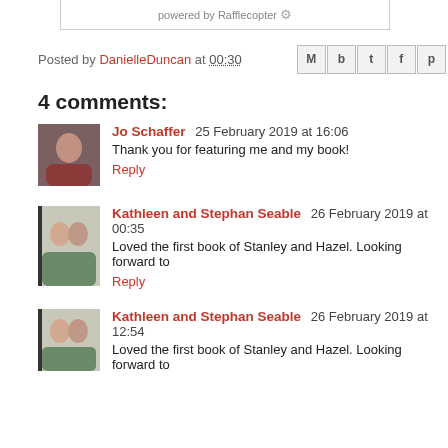powered by Rafflecopter
Posted by DanielleDuncan at 00:30
4 comments:
Jo Schaffer  25 February 2019 at 16:06
Thank you for featuring me and my book!
Reply
Kathleen and Stephan Seable  26 February 2019 at 00:35
Loved the first book of Stanley and Hazel. Looking forward to
Reply
Kathleen and Stephan Seable  26 February 2019 at 12:54
Loved the first book of Stanley and Hazel. Looking forward to